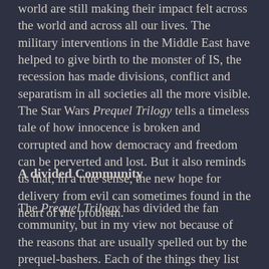world are still making their impact felt across the world and across all our lives. The military interventions in the Middle East have helped to give birth to the monster of IS, the recession has made divisions, conflict and separatism in all societies all the more visible. The Star Wars Prequel Trilogy tells a timeless tale of how innocence is broken and corrupted and how democracy and freedom can be perverted and lost. But it also reminds us that, in a true sense, the new hope for delivery from evil can sometimes found in the heart of the problem.
A divided Community
The Prequel Trilogy has divided the fan community, but in my view not because of the reasons that are usually spelled out by the prequel-bashers. Each of the things they list usually apply either just as well or even more so to other movie-franchises and/or